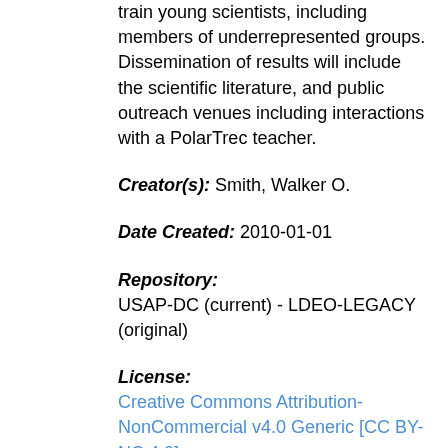train young scientists, including members of underrepresented groups. Dissemination of results will include the scientific literature, and public outreach venues including interactions with a PolarTrec teacher.
Creator(s): Smith, Walker O.
Date Created: 2010-01-01
Repository:
USAP-DC (current) - LDEO-LEGACY (original)
License:
Creative Commons Attribution-NonCommercial v4.0 Generic [CC BY-NC 4.0]
Spatial Extent(s)
West: -170, East: -100, South: